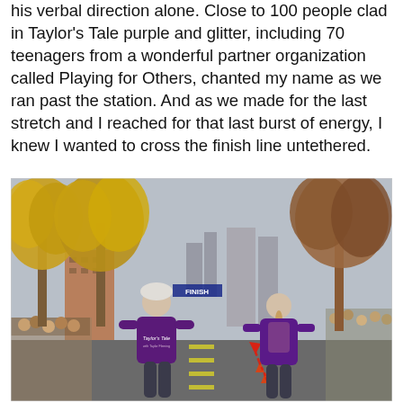his verbal direction alone. Close to 100 people clad in Taylor's Tale purple and glitter, including 70 teenagers from a wonderful partner organization called Playing for Others, chanted my name as we ran past the station. And as we made for the last stretch and I reached for that last burst of energy, I knew I wanted to cross the finish line untethered.
[Figure (photo): Two runners in purple Taylor's Tale shirts running toward a marathon finish line on an urban street lined with yellow autumn trees and spectators. Seen from behind. A red dashed arrow points toward the finish line banner in the distance.]